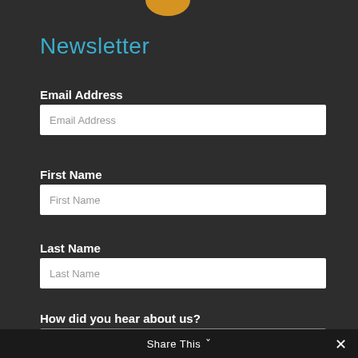[Figure (logo): Partial circular logo/badge visible at the top center of the page]
Newsletter
Email Address
[Figure (screenshot): Email Address input field with placeholder text 'Email Address']
First Name
[Figure (screenshot): First Name input field with placeholder text 'First Name']
Last Name
[Figure (screenshot): Last Name input field with placeholder text 'Last Name']
How did you hear about us?
[Figure (screenshot): Dropdown select field with placeholder 'How did you hear about us?' and chevron arrow]
Share This